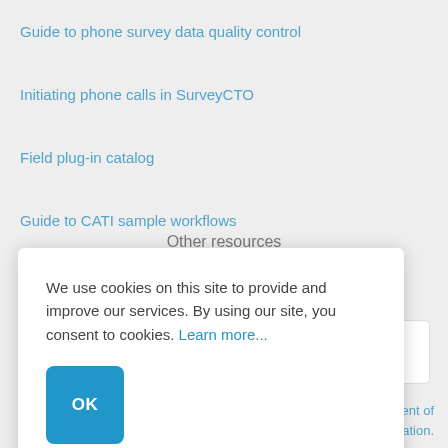Guide to phone survey data quality control
Initiating phone calls in SurveyCTO
Field plug-in catalog
Guide to CATI sample workflows
Other resources
We use cookies on this site to provide and improve our services. By using our site, you consent to cookies. Learn more...
OK
ON
ery component of cumentation.